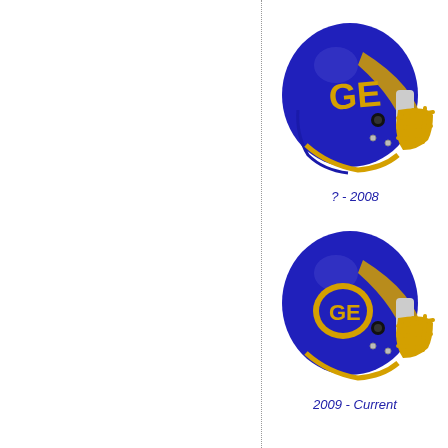[Figure (illustration): Blue football helmet with gold facemask and 'GE' letters logo on the side, facing right. Labeled '? - 2008'.]
? - 2008
[Figure (illustration): Blue football helmet with gold facemask and circular 'GE' monogram logo on the side, facing right. Labeled '2009 - Current'.]
2009 - Current